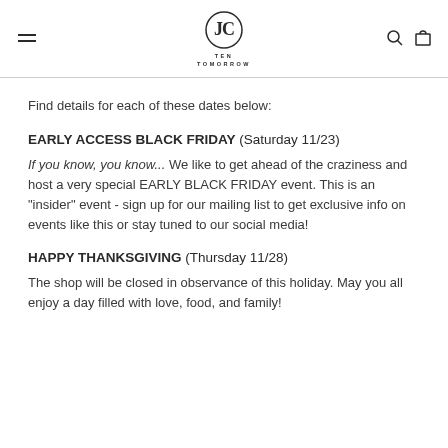TEN TOMORROW
Find details for each of these dates below:
EARLY ACCESS BLACK FRIDAY (Saturday 11/23)
If you know, you know... We like to get ahead of the craziness and host a very special EARLY BLACK FRIDAY event. This is an "insider" event - sign up for our mailing list to get exclusive info on events like this or stay tuned to our social media!
HAPPY THANKSGIVING (Thursday 11/28)
The shop will be closed in observance of this holiday. May you all enjoy a day filled with love, food, and family!